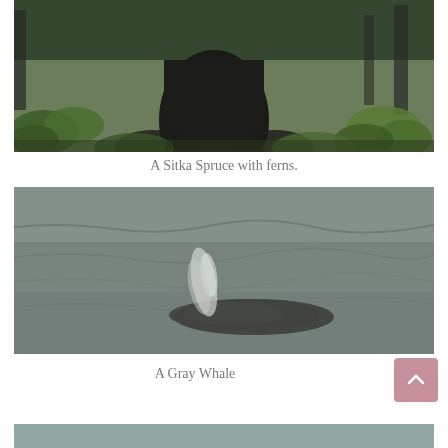[Figure (photo): A large Sitka Spruce tree trunk with lush green ferns and forest vegetation surrounding it]
A Sitka Spruce with ferns.
[Figure (photo): A gray whale surfacing from choppy gray-brown ocean water with a spout of mist visible]
A Gray Whale